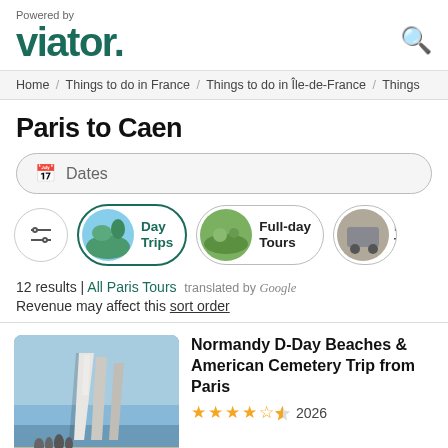Powered by viator
Home / Things to do in France / Things to do in Île-de-France / Things
Paris to Caen
Dates
[Figure (screenshot): Filter buttons: settings icon button, Day Trips pill (active, teal border), Full-day Tours pill, Bus Tours pill (partially visible)]
12 results | All Paris Tours   translated by Google
Revenue may affect this sort order
[Figure (photo): Photo of Normandy D-Day memorial sculpture with tall white wing-like forms, people standing near it, blue sky background]
Normandy D-Day Beaches & American Cemetery Trip from Paris
★★★★½ 2026